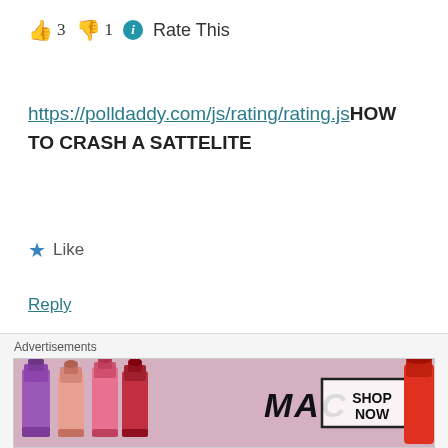👍 3 👎 1 ℹ Rate This
https://polldaddy.com/js/rating/rating.jsHOW TO CRASH A SATTELITE
★ Like
Reply
Joel says: October 19, 2017 at 9:36 pm
Advertisements